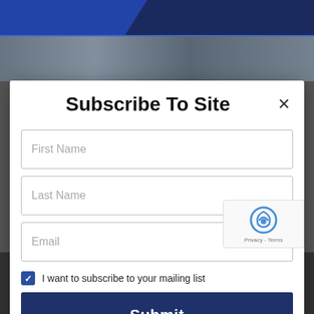Subscribe To Site
First Name
Last Name
Email
I want to subscribe to your mailing list
Submit
AUG 26, 2022  SPARKY